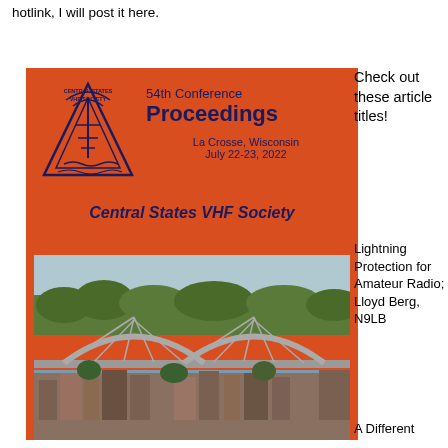hotlink, I will post it here.
[Figure (illustration): Book cover of the 54th Conference Proceedings of the Central States VHF Society, La Crosse, Wisconsin, July 22-23, 2022. Orange background with the society logo (triangle with antenna), conference title, and a photo of a bridge over a river with city buildings.]
Check out these article titles!
Lightning Protection for Amateur Radio; Lloyd Berg, N9LB
A Different